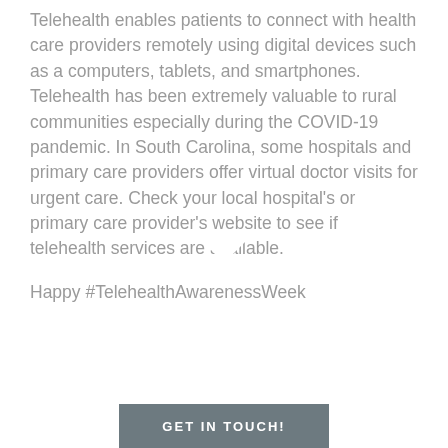Telehealth enables patients to connect with health care providers remotely using digital devices such as a computers, tablets, and smartphones. Telehealth has been extremely valuable to rural communities especially during the COVID-19 pandemic. In South Carolina, some hospitals and primary care providers offer virtual doctor visits for urgent care. Check your local hospital's or primary care provider's website to see if telehealth services are available.
Happy #TelehealthAwarenessWeek
Connecting quality health care anytime, anywhere.
GET IN TOUCH!